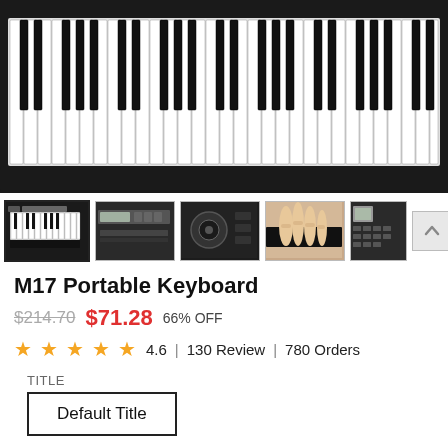[Figure (photo): Close-up photo of a portable electronic keyboard/piano showing white and black keys from above and slightly angled, with a black frame/body. The keys fill most of the image.]
[Figure (photo): Row of 5 product thumbnail images: 1) Full keyboard overview with black frame, 2) Close-up of keyboard control panel with LCD display, 3) Close-up of knob and buttons on keyboard, 4) Hand playing keyboard keys, 5) Side panel with LCD and button controls. A scroll-up arrow button is on the right.]
M17 Portable Keyboard
$214.70  $71.28  66% OFF
4.6   130 Review   780 Orders
TITLE
Default Title